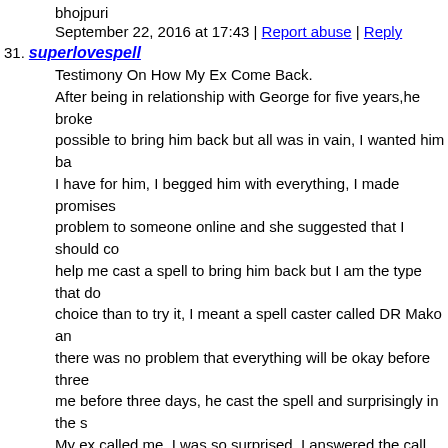bhojpuri
September 22, 2016 at 17:43 | Report abuse | Reply
31. superlovespell
Testimony On How My Ex Come Back.
After being in relationship with George for five years,he broke... possible to bring him back but all was in vain, I wanted him ba... I have for him, I begged him with everything, I made promises... problem to someone online and she suggested that I should co... help me cast a spell to bring him back but I am the type that d... choice than to try it, I meant a spell caster called DR Mako an... there was no problem that everything will be okay before three... me before three days, he cast the spell and surprisingly in the s... My ex called me, I was so surprised, I answered the call and al... sorry for everything that happened, that he wanted me to retur... much. I was so happy and went to him, that was how we starte... Since then, I have made promise that anybody I know that hav... would be of help to such person by referring him or her to the ... caster who helped me with my own problem and who is differe... there. Anybody could need the help of the spell caster, his ema... Makospelltemple@yahoo.com or call him :+2347054263874.
September 27, 2016 at 06:41 | Report abuse | Reply
32. Mellissa Confair